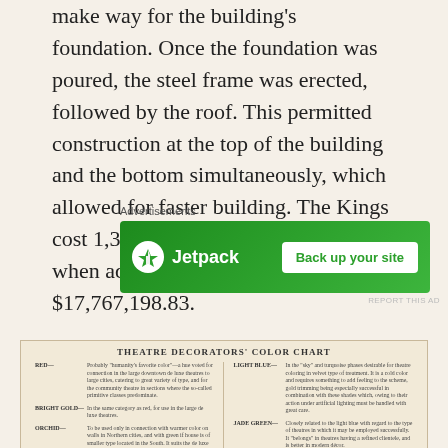make way for the building's foundation. Once the foundation was poured, the steel frame was erected, followed by the roof. This permitted construction at the top of the building and the bottom simultaneously, which allowed for faster building. The Kings cost 1,300,000 to build in 1928 which when adjusted for inflation comes to $17,767,198.83.
Advertisements
[Figure (other): Jetpack advertisement banner: green background with Jetpack logo and lightning bolt icon on left, white 'Back up your site' button on right.]
[Figure (other): Theatre Decorators' Color Chart showing color descriptions for RED, BRIGHT GOLD, ORCHID on the left column and LIGHT BLUE, JADE GREEN, ORANGE HENNA on the right column.]